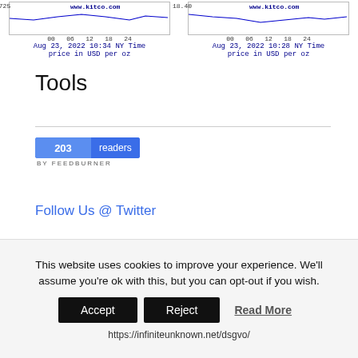[Figure (screenshot): Two Kitco gold/silver price charts side by side. Left chart shows price 1725, axis 00 06 12 18 24, Aug 23, 2022 10:34 NY Time, price in USD per oz. Right chart shows price 18.40, axis 00 06 12 18 24, Aug 23, 2022 10:28 NY Time, price in USD per oz. Both with www.kitco.com links.]
Tools
[Figure (screenshot): FeedBurner badge showing 203 readers, blue button with reader count and 'BY FEEDBURNER' text below.]
Follow Us @ Twitter
Meta
This website uses cookies to improve your experience. We'll assume you're ok with this, but you can opt-out if you wish.
Accept  Reject  Read More
https://infiniteunknown.net/dsgvo/